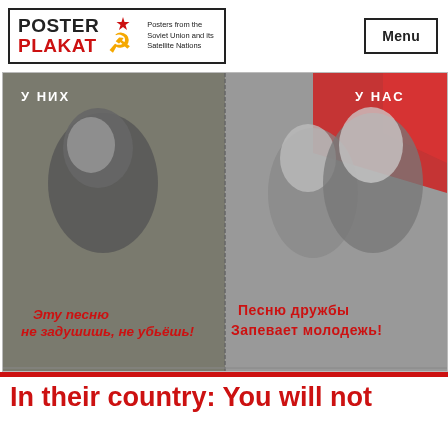[Figure (logo): PosterPlakat logo with hammer and sickle symbol and tagline 'Posters from the Soviet Union and its Satellite Nations']
Menu
[Figure (photo): Soviet propaganda poster split into two halves: left side (У НИХ - In their country) shows a woman in black and white with text 'Эту песню не задушишь, не убьёшь!'; right side (У НАС - In our country) shows two young people with a red flag and text 'Песню дружбы запевает молодежь!']
In their country: You will not